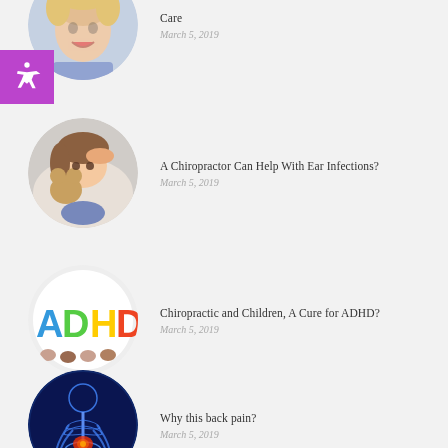[Figure (photo): Circular photo of a young smiling blonde girl, cropped at top]
Care
March 5, 2019
[Figure (photo): Circular photo of a sick girl lying down hugging a stuffed animal]
A Chiropractor Can Help With Ear Infections?
March 5, 2019
[Figure (photo): Circular photo of children holding colorful ADHD letters]
Chiropractic and Children, A Cure for ADHD?
March 5, 2019
[Figure (photo): Circular photo of blue x-ray human figure with spine and lower back highlighted in red]
Why this back pain?
March 5, 2019